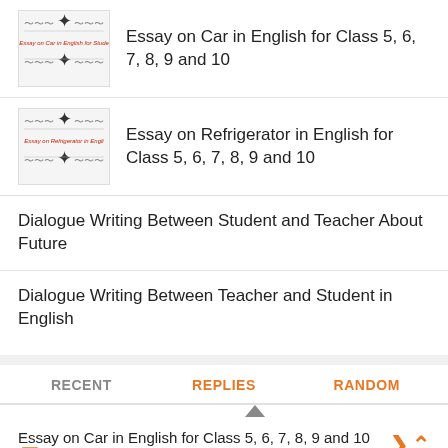Essay on Car in English for Class 5, 6, 7, 8, 9 and 10
Essay on Refrigerator in English for Class 5, 6, 7, 8, 9 and 10
Dialogue Writing Between Student and Teacher About Future
Dialogue Writing Between Teacher and Student in English
RECENT
REPLIES
RANDOM
Essay on Car in English for Class 5, 6, 7, 8, 9 and 10  0